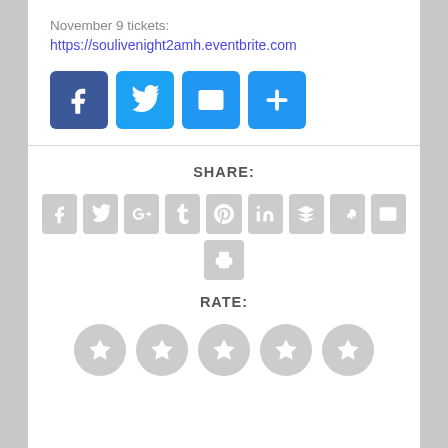November 9 tickets:
https://soulivenight2amh.eventbrite.com
[Figure (infographic): Four blue social share buttons: Facebook, Twitter, Email, Plus/More]
SHARE:
[Figure (infographic): Gray social share icons: Facebook, Twitter, Google+, Tumblr, Pinterest, LinkedIn, Buffer, StumbleUpon, Email, Print]
RATE:
[Figure (infographic): Five gray star rating circles]